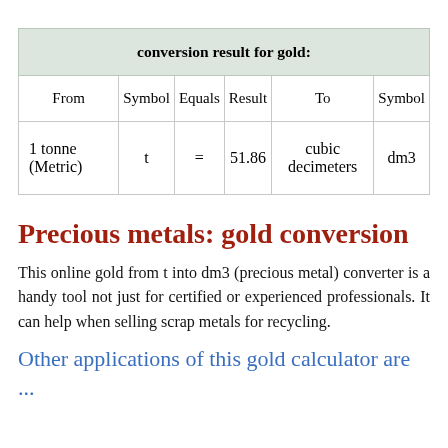| From | Symbol | Equals | Result | To | Symbol |
| --- | --- | --- | --- | --- | --- |
| 1 tonne (Metric) | t | = | 51.86 | cubic decimeters | dm3 |
Precious metals: gold conversion
This online gold from t into dm3 (precious metal) converter is a handy tool not just for certified or experienced professionals. It can help when selling scrap metals for recycling.
Other applications of this gold calculator are ...